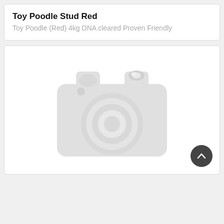Toy Poodle Stud Red
Toy Poodle (Red) 4kg DNA cleared Proven Friendly
[Figure (photo): Placeholder image showing a grey camera icon on a white background, indicating no photo has been uploaded]